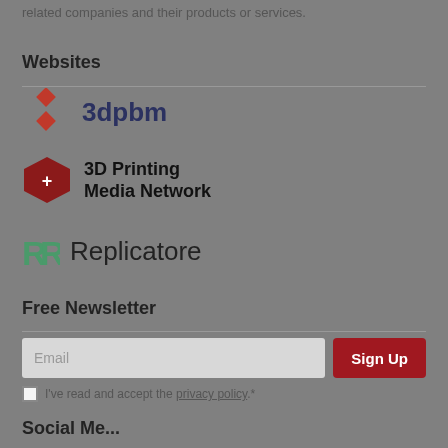related companies and their products or services.
Websites
[Figure (logo): 3dpbm logo with red diamond shapes and bold blue text '3dpbm']
[Figure (logo): 3D Printing Media Network logo with red hexagon icon and bold text]
[Figure (logo): Replicatore logo with green RR monogram and gray text 'Replicatore']
Free Newsletter
Email  Sign Up
I've read and accept the privacy policy.*
Social Me...